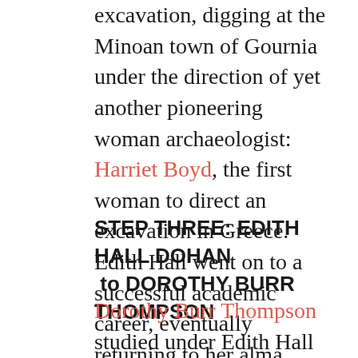excavation, digging at the Minoan town of Gournia under the direction of yet another pioneering woman archaeologist: Harriet Boyd, the first woman to direct an excavation in Greece. Edith Hall went on to a successful academic career, eventually returning to her alma mater Bryn Mawr to teach in 1921. There she trained up a new generation of classical archaeologists.
STEP THREE: EDITH HALL DOHAN to DOROTHY BURR THOMPSON
Dorothy Burr Thompson studied under Edith Hall Dohan at Bryn Mawr, and like Hall Dohan (and Harriet Boyd) before her, went on to be a